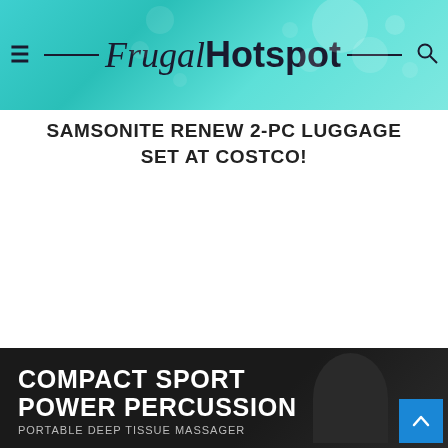Frugal Hotspot
SAMSONITE RENEW 2-PC LUGGAGE SET AT COSTCO!
[Figure (photo): Bottom portion of page showing a product advertisement for Compact Sport Power Percussion Portable Deep Tissue Massager on dark background, with a blue scroll-to-top button in bottom right corner.]